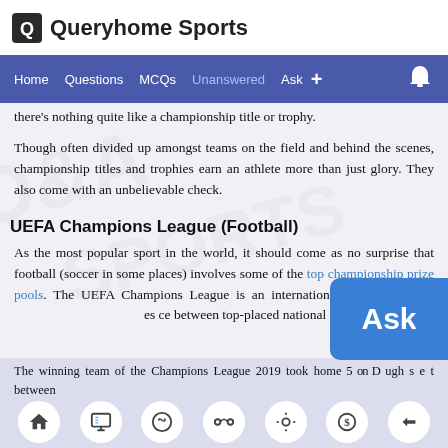Queryhome Sports
Home  Questions  MCQs  Unanswered  Ask  +
there's nothing quite like a championship title or trophy.
Though often divided up amongst teams on the field and behind the scenes, championship titles and trophies earn an athlete more than just glory. They also come with an unbelievable check.
UEFA Champions League (Football)
As the most popular sport in the world, it should come as no surprise that football (soccer in some places) involves some of the top championship prize pools. The UEFA Champions League is an international competition tha tes ce between top-placed national clubs throughout
The winning team of the Champions League 2019 took home $5 on D ugh s e t between